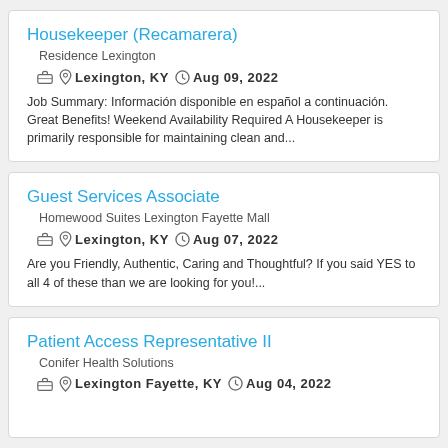Housekeeper (Recamarera)
Residence Lexington
Lexington, KY  Aug 09, 2022
Job Summary: Información disponible en español a continuación. Great Benefits! Weekend Availability Required A Housekeeper is primarily responsible for maintaining clean and...
Guest Services Associate
Homewood Suites Lexington Fayette Mall
Lexington, KY  Aug 07, 2022
Are you Friendly, Authentic, Caring and Thoughtful? If you said YES to all 4 of these than we are looking for you!...
Patient Access Representative II
Conifer Health Solutions
Lexington Fayette, KY  Aug 04, 2022